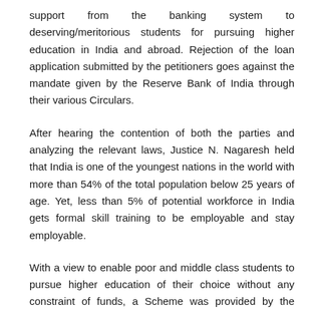support from the banking system to deserving/meritorious students for pursuing higher education in India and abroad. Rejection of the loan application submitted by the petitioners goes against the mandate given by the Reserve Bank of India through their various Circulars.
After hearing the contention of both the parties and analyzing the relevant laws, Justice N. Nagaresh held that India is one of the youngest nations in the world with more than 54% of the total population below 25 years of age. Yet, less than 5% of potential workforce in India gets formal skill training to be employable and stay employable.
With a view to enable poor and middle class students to pursue higher education of their choice without any constraint of funds, a Scheme was provided by the Government of India to ensure that no student misses out on higher education for lack of funds.